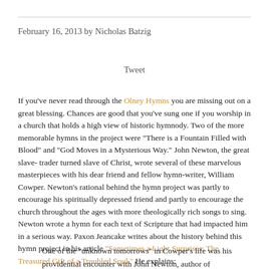February 16, 2013 by Nicholas Batzig
Tweet
If you've never read through the Olney Hymns you are missing out on a great blessing. Chances are good that you've sung one if you worship in a church that holds a high view of historic hymnody. Two of the more memorable hymns in the project were "There is a Fountain Filled with Blood" and "God Moves in a Mysterious Way." John Newton, the great slave-trader turned slave of Christ, wrote several of these marvelous masterpieces with his dear friend and fellow hymn-writer, William Cowper. Newton's rational behind the hymn project was partly to encourage his spiritually depressed friend and partly to encourage the church throughout the ages with more theologically rich songs to sing. Newton wrote a hymn for each text of Scripture that had impacted him in a serious way. Paxon Jeancake writes about the history behind this hymn project in his article "Sometimes a Light Surprises: The Treasured Gift of a Troubled Soul." He explains:
One of the "unknown tomorrows" in Cowper's life was his
providential encounter with John Newton, author of